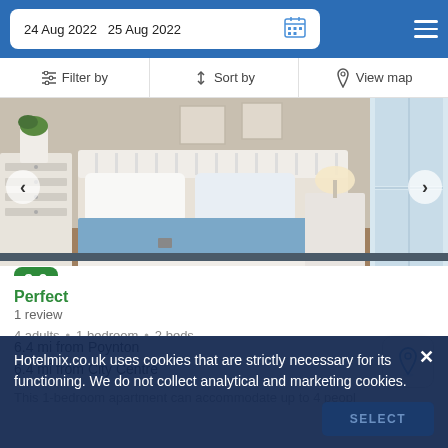24 Aug 2022  25 Aug 2022
Filter by  Sort by  View map
[Figure (photo): Bedroom interior photo showing a white metal bed frame with blue and white bedding, two bedside tables with lamps, a white dresser on the left, framed botanical prints on the wall, and a bright window on the right.]
9.0
Perfect
1 review
4 adults · 1 bedroom · 2 beds
6.4 mi from Poynton
6.4 mi from City Centre
This 1-bedroom apartment can accommodate up to 4 people
Hotelmix.co.uk uses cookies that are strictly necessary for its functioning. We do not collect analytical and marketing cookies.
SELECT